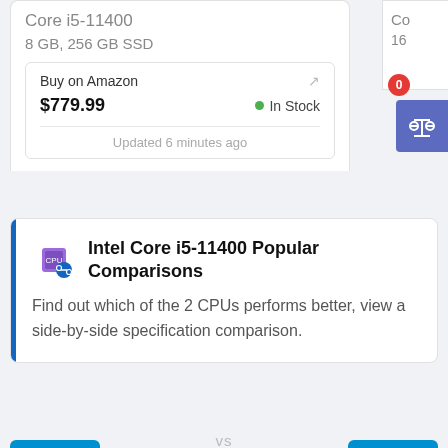Core i5-11400
8 GB, 256 GB SSD
Buy on Amazon
$779.99  ● In Stock
Updated 6 minutes ago
Co
16
[Figure (screenshot): Blue compare button with scale/balance icon and red badge showing 0]
Intel Core i5-11400 Popular Comparisons
Find out which of the 2 CPUs performs better, view a side-by-side specification comparison.
[Figure (logo): Intel Core i5 logo (blue background)]
vs
[Figure (logo): Intel Core i5 logo (blue background)]